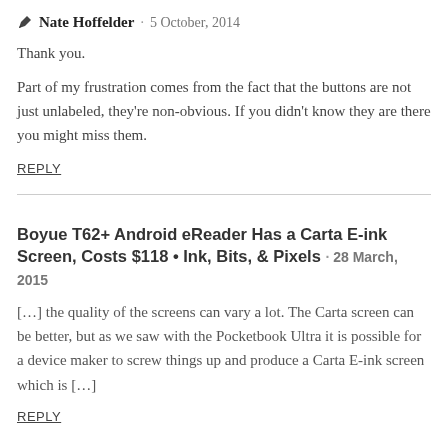✏ Nate Hoffelder · 5 October, 2014
Thank you.
Part of my frustration comes from the fact that the buttons are not just unlabeled, they're non-obvious. If you didn't know they are there you might miss them.
REPLY
Boyue T62+ Android eReader Has a Carta E-ink Screen, Costs $118 • Ink, Bits, & Pixels · 28 March, 2015
[…] the quality of the screens can vary a lot. The Carta screen can be better, but as we saw with the Pocketbook Ultra it is possible for a device maker to screw things up and produce a Carta E-ink screen which is […]
REPLY